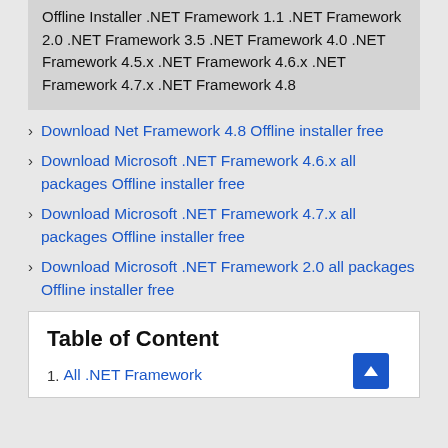Offline Installer .NET Framework 1.1 .NET Framework 2.0 .NET Framework 3.5 .NET Framework 4.0 .NET Framework 4.5.x .NET Framework 4.6.x .NET Framework 4.7.x .NET Framework 4.8
Download Net Framework 4.8 Offline installer free
Download Microsoft .NET Framework 4.6.x all packages Offline installer free
Download Microsoft .NET Framework 4.7.x all packages Offline installer free
Download Microsoft .NET Framework 2.0 all packages Offline installer free
Table of Content
All .NET Framework